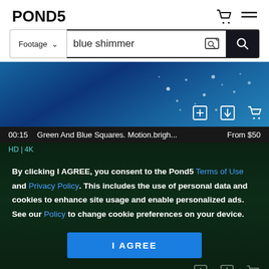POND5
Footage  blue shimmer
[Figure (screenshot): Blue shimmer video thumbnail with sparkle particles on dark blue background, with add, download, and cart icons]
00:15  Green And Blue Squares. Motion.brigh...  From $50
HD | 4K
By clicking I AGREE, you consent to the Pond5 Terms of Use and Privacy Policy. This includes the use of personal data and cookies to enhance site usage and enable personalized ads. See our Policy to change cookie preferences on your device.
I AGREE